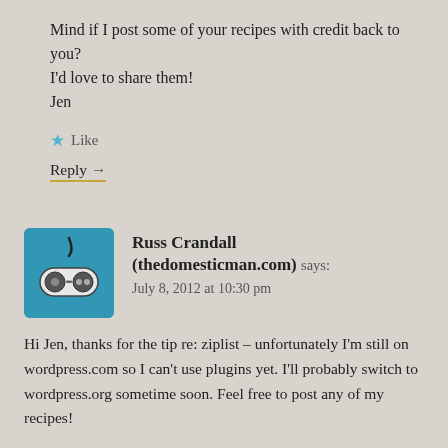Mind if I post some of your recipes with credit back to you?
I'd love to share them!
Jen
★ Like
Reply →
Russ Crandall (thedomesticman.com) says:
July 8, 2012 at 10:30 pm
[Figure (illustration): Teal/blue square avatar icon with a game controller graphic]
Hi Jen, thanks for the tip re: ziplist – unfortunately I'm still on wordpress.com so I can't use plugins yet. I'll probably switch to wordpress.org sometime soon. Feel free to post any of my recipes!
★ Like
Reply →